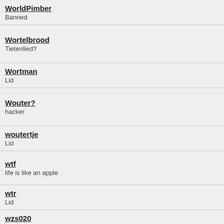WorldPimber
Banned
Wortelbrood
Tietenlied?
Wortman
Lid
Wouter?
hacker
woutertje
Lid
wtf
life is like an apple
wtr
Lid
wzs020
Lid